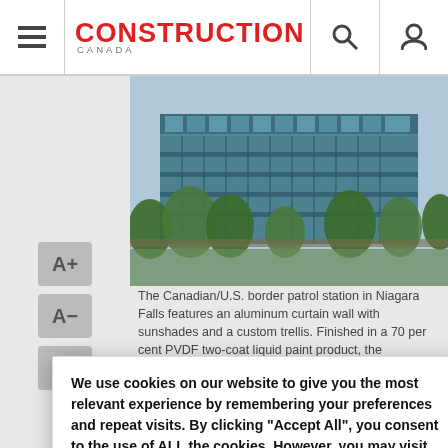CONSTRUCTION CANADA
[Figure (photo): The Canadian/U.S. border patrol station in Niagara Falls featuring an aluminum curtain wall with sunshades and a custom trellis — a modern curved glass and steel building surrounded by trees.]
The Canadian/U.S. border patrol station in Niagara Falls features an aluminum curtain wall with sunshades and a custom trellis. Finished in a 70 per cent PVDF two-coat liquid paint product, the aluminum framing withstands the challenging environmental conditions of temperature fluctuations, excess moisture from the river and falls, and exhaust from traffic. A dual-coloured finished presents
We use cookies on our website to give you the most relevant experience by remembering your preferences and repeat visits. By clicking “Accept All”, you consent to the use of ALL the cookies. However, you may visit “Cookie Settings” to provide a controlled consent.